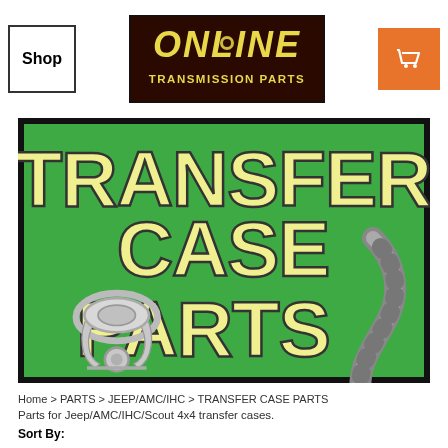[Figure (logo): Shop button - bordered box with text 'Shop']
[Figure (logo): Online Transmission Parts logo - dark maroon background with yellow stylized text 'ONLINE' and 'TRANSMISSION PARTS']
[Figure (logo): Orange shopping cart button icon]
[Figure (illustration): Transfer Case Parts banner image - green background with large yellow outlined text 'TRANSFER CASE PARTS' with mechanical parts images on left and right]
Home > PARTS > JEEP/AMC/IHC > TRANSFER CASE PARTS
Parts for Jeep/AMC/IHC/Scout 4x4 transfer cases.
Sort By: